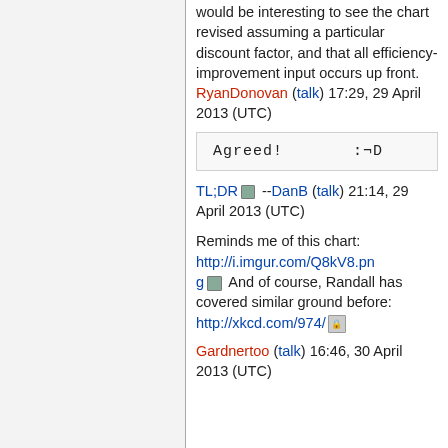would be interesting to see the chart revised assuming a particular discount factor, and that all efficiency-improvement input occurs up front. RyanDonovan (talk) 17:29, 29 April 2013 (UTC)
Agreed!      :¬D
TL;DR 🔒 --DanB (talk) 21:14, 29 April 2013 (UTC)
Reminds me of this chart: http://i.imgur.com/Q8kV8.png 🔒 And of course, Randall has covered similar ground before: http://xkcd.com/974/ 🔒 Gardnertoo (talk) 16:46, 30 April 2013 (UTC)